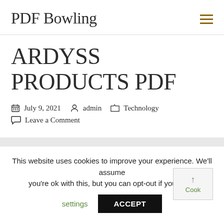PDF Bowling
ARDYSS PRODUCTS PDF
July 9, 2021  admin  Technology  Leave a Comment
This website uses cookies to improve your experience. We'll assume you're ok with this, but you can opt-out if you wish.
settings  ACCEPT